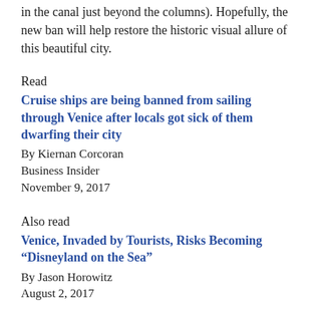in the canal just beyond the columns). Hopefully, the new ban will help restore the historic visual allure of this beautiful city.
Read
Cruise ships are being banned from sailing through Venice after locals got sick of them dwarfing their city
By Kiernan Corcoran
Business Insider
November 9, 2017
Also read
Venice, Invaded by Tourists, Risks Becoming “Disneyland on the Sea”
By Jason Horowitz
August 2, 2017